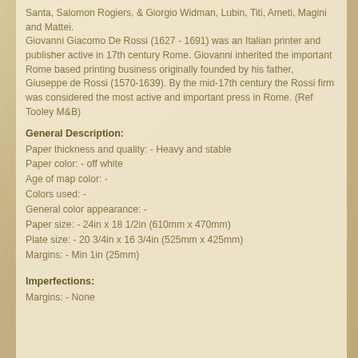Santa, Salomon Rogiers, & Giorgio Widman, Lubin, Titi, Ameti, Magini and Mattei.
Giovanni Giacomo De Rossi (1627 - 1691) was an Italian printer and publisher active in 17th century Rome. Giovanni inherited the important Rome based printing business originally founded by his father, Giuseppe de Rossi (1570-1639). By the mid-17th century the Rossi firm was considered the most active and important press in Rome. (Ref Tooley M&B)
General Description:
Paper thickness and quality: - Heavy and stable
Paper color: - off white
Age of map color: -
Colors used: -
General color appearance: -
Paper size: - 24in x 18 1/2in (610mm x 470mm)
Plate size: - 20 3/4in x 16 3/4in (525mm x 425mm)
Margins: - Min 1in (25mm)
Imperfections:
Margins: - None